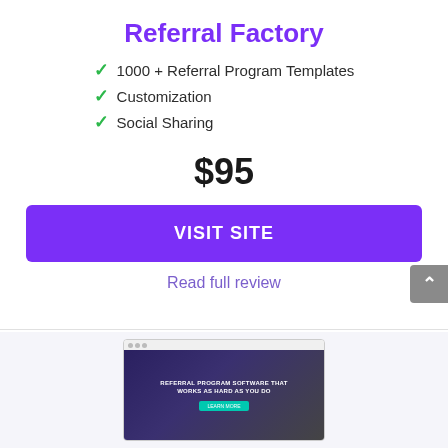Referral Factory
1000 + Referral Program Templates
Customization
Social Sharing
$95
VISIT SITE
Read full review
[Figure (screenshot): Screenshot of Referral Factory website showing 'Referral Program Software That Works As Hard As You Do' with a teal call-to-action button]